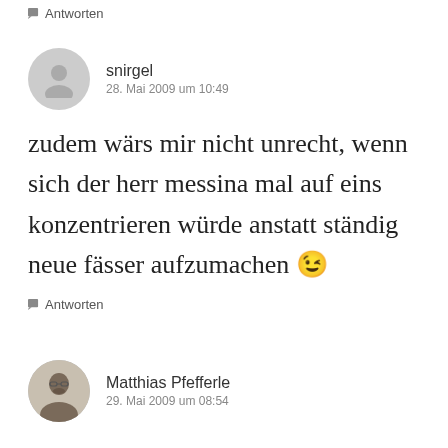Antworten
snirgel
28. Mai 2009 um 10:49
zudem wärs mir nicht unrecht, wenn sich der herr messina mal auf eins konzentrieren würde anstatt ständig neue fässer aufzumachen 😉
Antworten
Matthias Pfefferle
29. Mai 2009 um 08:54